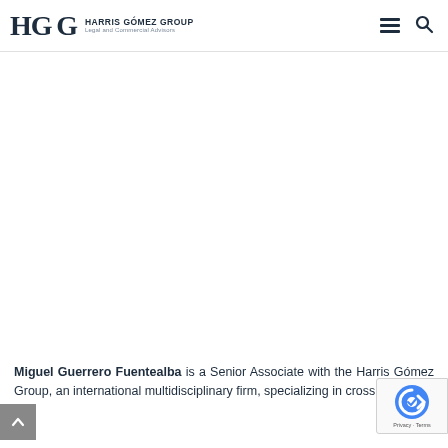HARRIS GÓMEZ GROUP — Legal and Commercial Advisors
[Figure (screenshot): Large empty white content area, likely where a profile photo or other content would load]
Miguel Guerrero Fuentealba is a Senior Associate with the Harris Gómez Group, an international multidisciplinary firm, specializing in cross border